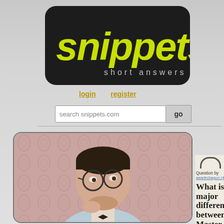[Figure (logo): Snippets website logo — dark rounded rectangle with yellow-green italic bold text 'snippets' and subtitle 'short answers' in light gray]
login   register
search snippets.com   go
[Figure (photo): A bearded man with glasses wearing a light blue cardigan and bow tie, holding his hand to his chin in a thinking pose, against a pink floral wallpaper background]
Question by aearthdragon (4
What is major differen between Master